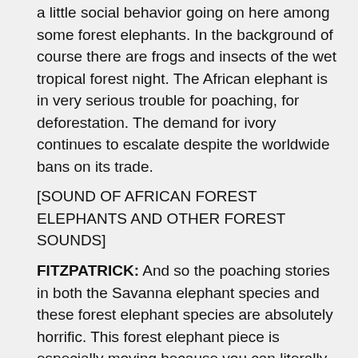a little social behavior going on here among some forest elephants. In the background of course there are frogs and insects of the wet tropical forest night. The African elephant is in very serious trouble for poaching, for deforestation. The demand for ivory continues to escalate despite the worldwide bans on its trade.
[SOUND OF AFRICAN FOREST ELEPHANTS AND OTHER FOREST SOUNDS]
FITZPATRICK: And so the poaching stories in both the Savanna elephant species and these forest elephant species are absolutely horrific. This forest elephant piece is especially moving because you can literally feel the vibrations in your body. The subwoofer is actually behind the wall. If you put your hand on the wall, you can really feel that wall pulsing in and out.